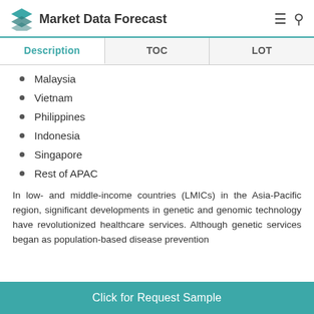Market Data Forecast
| Description | TOC | LOT |
| --- | --- | --- |
Malaysia
Vietnam
Philippines
Indonesia
Singapore
Rest of APAC
In low- and middle-income countries (LMICs) in the Asia-Pacific region, significant developments in genetic and genomic technology have revolutionized healthcare services. Although genetic services began as population-based disease prevention
Click for Request Sample